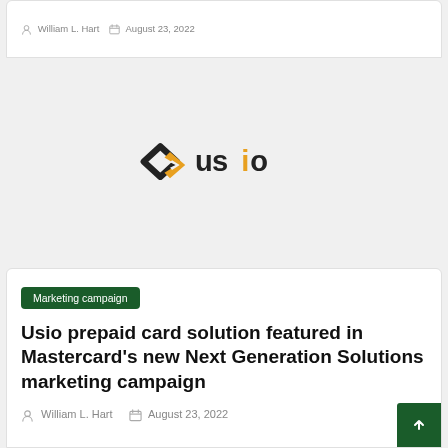William L. Hart  August 23, 2022
[Figure (logo): Usio company logo — two overlapping diamond shapes in dark/gold with the word 'usio' in dark text]
Marketing campaign
Usio prepaid card solution featured in Mastercard's new Next Generation Solutions marketing campaign
William L. Hart  August 23, 2022